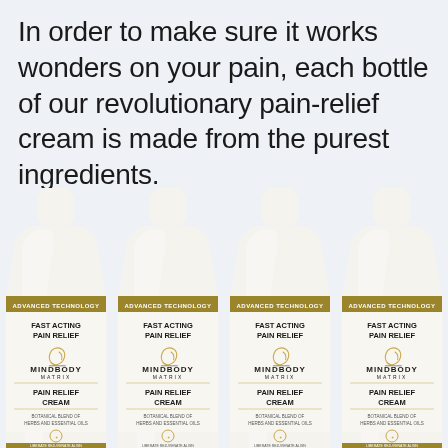In order to make sure it works wonders on your pain, each bottle of our revolutionary pain-relief cream is made from the purest ingredients.

But this is not an easy job.
[Figure (photo): Four white lotion bottles of MindBody Matrix Pain Relief Cream arranged side by side. Each bottle has a gold 'Advanced Technology' banner, label reading 'Fast Acting Pain Relief', the MindBody Matrix logo, 'Pain Relief Cream', 'Botanical Blend of Herbs and Essential Oils', and 'Liberate Rejuvenate Align' text at the bottom with a decorative medallion.]